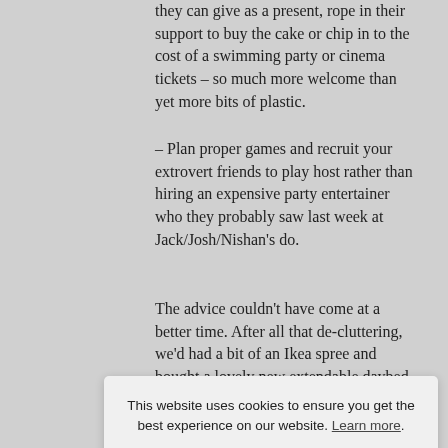they can give as a present, rope in their support to buy the cake or chip in to the cost of a swimming party or cinema tickets – so much more welcome than yet more bits of plastic.
– Plan proper games and recruit your extrovert friends to play host rather than hiring an expensive party entertainer who they probably saw last week at Jack/Josh/Nishan's do.
The advice couldn't have come at a better time. After all that de-cluttering, we'd had a bit of an Ikea spree and bought a lovely new extendable daybed
This website uses cookies to ensure you get the best experience on our website. Learn more.
Accept & Close
mishap.